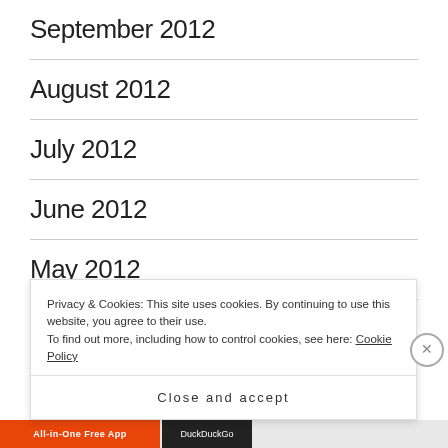September 2012
August 2012
July 2012
June 2012
May 2012
April 2012
Privacy & Cookies: This site uses cookies. By continuing to use this website, you agree to their use.
To find out more, including how to control cookies, see here: Cookie Policy
Close and accept